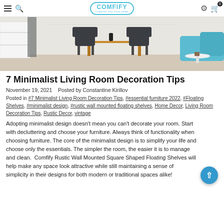COMFIFY — COMFORT FOR YOUR HOME
[Figure (photo): A modern minimalist living room with dark chairs, wooden furniture, white shelves and a blue armchair]
7 Minimalist Living Room Decoration Tips
November 19, 2021   Posted by Constantine Kirillov
Posted in #7 Minimalist Living Room Decoration Tips, #essential furniture 2022, #Floating Shelves, #minimalist design, #rustic wall mounted floating shelves, Home Decor, Living Room Decoration Tips, Rustic Decor, vintage
Adopting minimalist design doesn't mean you can't decorate your room. Start with decluttering and choose your furniture. Always think of functionality when choosing furniture. The core of the minimalist design is to simplify your life and choose only the essentials. The simpler the room, the easier it is to manage and clean.  Comfify Rustic Wall Mounted Square Shaped Floating Shelves will help make any space look attractive while still maintaining a sense of simplicity in their designs for both modern or traditional spaces alike!